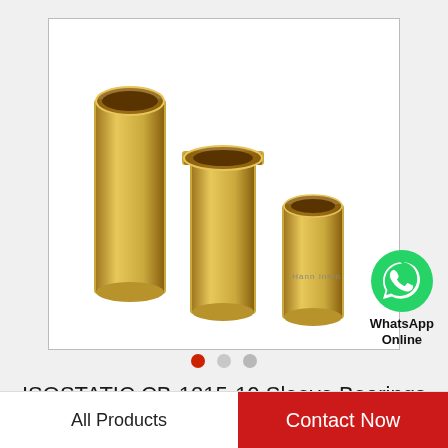[Figure (photo): Three gold/brass colored cylindrical sleeve bearings of decreasing sizes arranged left to right on a white background]
[Figure (logo): WhatsApp green phone icon with text WhatsApp Online below]
ISOSTATIC CB-1215-10 Sleeve Bearings
All Products
Contact Now